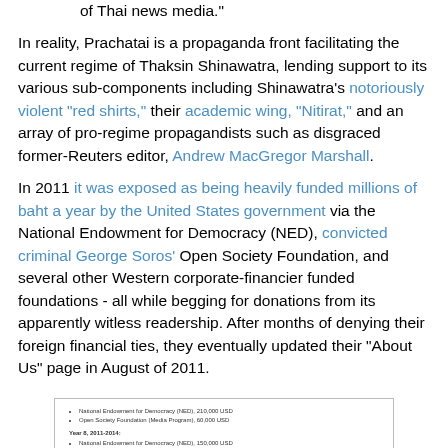of Thai news media."
In reality, Prachatai is a propaganda front facilitating the current regime of Thaksin Shinawatra, lending support to its various sub-components including Shinawatra's notoriously violent "red shirts," their academic wing, "Nitirat," and an array of pro-regime propagandists such as disgraced former-Reuters editor, Andrew MacGregor Marshall.
In 2011 it was exposed as being heavily funded millions of baht a year by the United States government via the National Endowment for Democracy (NED), convicted criminal George Soros' Open Society Foundation, and several other Western corporate-financier funded foundations - all while begging for donations from its apparently witless readership. After months of denying their foreign financial ties, they eventually updated their "About Us" page in August of 2011.
[Figure (screenshot): Screenshot of a webpage listing financial donors including National Endowment for Democracy, Open Society Foundation, and other foundations, organized by year with bullet points.]